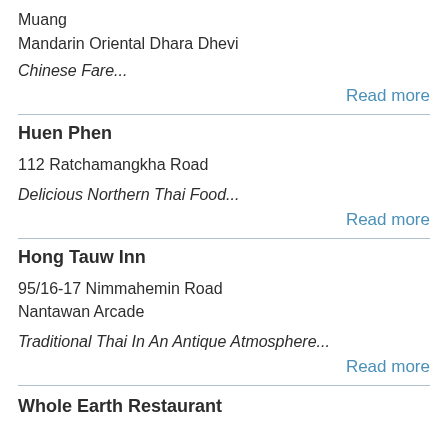Muang
Mandarin Oriental Dhara Dhevi
Chinese Fare...
Read more
Huen Phen
112 Ratchamangkha Road
Delicious Northern Thai Food...
Read more
Hong Tauw Inn
95/16-17 Nimmahemin Road
Nantawan Arcade
Traditional Thai In An Antique Atmosphere...
Read more
Whole Earth Restaurant